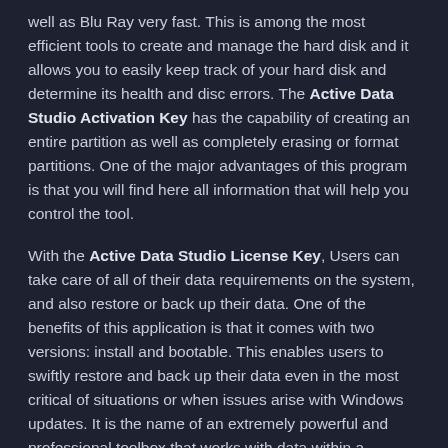well as Blu Ray very fast. This is among the most efficient tools to create and manage the hard disk and it allows you to easily keep track of your hard disk and determine its health and disc errors. The Active Data Studio Activation Key has the capability of creating an entire partition as well as completely erasing or format partitions. One of the major advantages of this program is that you will find here all information that will help you control the tool.
With the Active Data Studio License Key, Users can take care of all of their data requirements on the system, and also restore or back up their data. One of the benefits of this application is that it comes with two versions: install and bootable. This enables users to swiftly restore and back up their data even in the most critical of situations or when issues arise with Windows updates. It is the name of an extremely powerful and professional toolbox that works with data within a Windows OS environment.